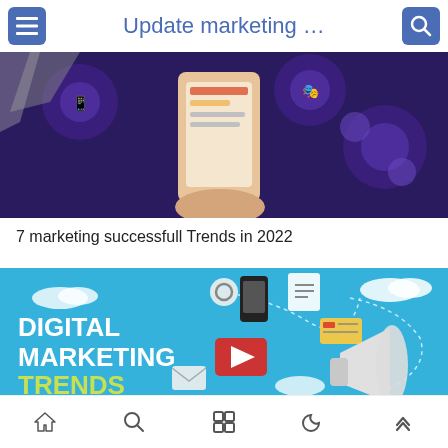Update marketing …
[Figure (screenshot): Digital marketing illustration showing hands holding a smartphone with social media icons and marketing icons on a dark purple background]
7 marketing successfull Trends in 2022
[Figure (illustration): Digital Marketing Trends 2022 banner with blue background, megaphone, mobile devices, and marketing icons flying around]
Navigation icons: home, search, grid, moon, up-arrow